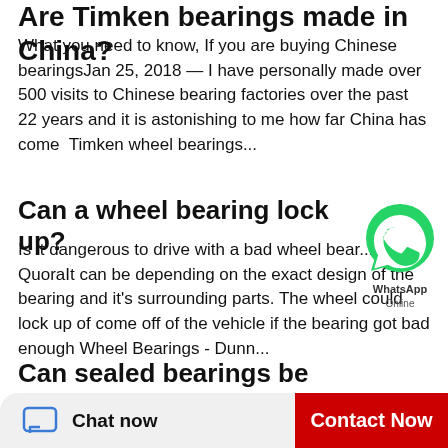Are Timken bearings made in China?
What you need to know, If you are buying Chinese bearingsJan 25, 2018 — I have personally made over 500 visits to Chinese bearing factories over the past 22 years and it is astonishing to me how far China has come  Timken wheel bearings...
Can a wheel bearing lock up?
Is it dangerous to drive with a bad wheel bear... QuoraIt can be depending on the exact design of the bearing and it's surrounding parts. The wheel could lock up of come off of the vehicle if the bearing got bad enough Wheel Bearings - Dunn...
[Figure (illustration): WhatsApp Online green bubble icon with WhatsApp Online label]
Can sealed bearings be lubricated?
The Three Mistakes of Bearing Lubrication
Chat now
Contact Now